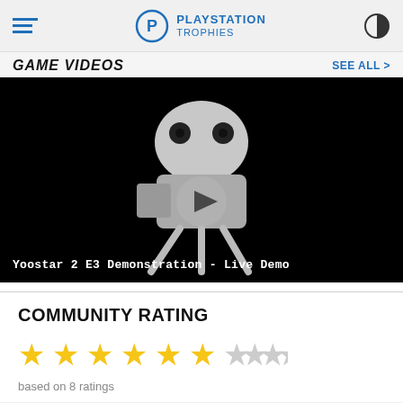PlayStation Trophies
GAME VIDEOS
[Figure (screenshot): Video thumbnail showing a cartoon movie camera icon on a black background with a play button overlay. Caption reads: Yoostar 2 E3 Demonstration - Live Demo]
COMMUNITY RATING
based on 8 ratings